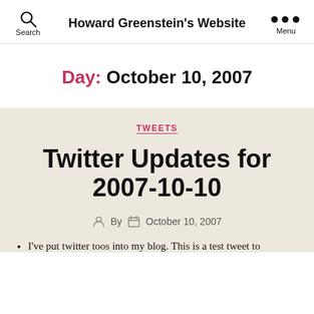Howard Greenstein's Website
Day: October 10, 2007
TWEETS
Twitter Updates for 2007-10-10
By  October 10, 2007
I've put twitter toos into my blog. This is a test tweet to